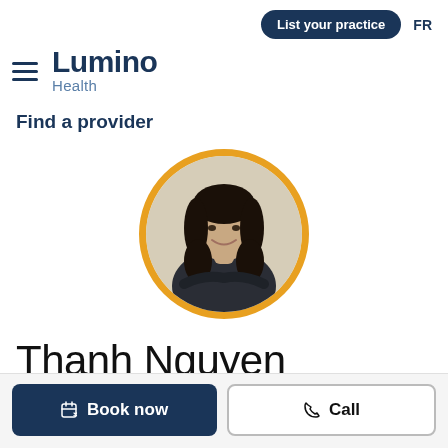List your practice   FR
[Figure (logo): Lumino Health logo with hamburger menu icon on the left, 'Lumino' in dark navy bold text and 'Health' in lighter blue below]
Find a provider
[Figure (photo): Circular profile photo of Thanh Nguyen with a gold/amber border, showing a woman with dark hair smiling with arms crossed, wearing a dark jacket]
Thanh Nguyen
Book now   Call